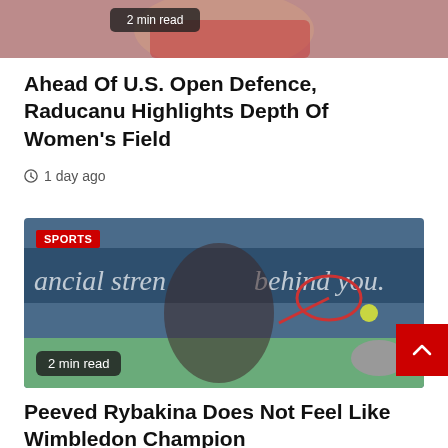[Figure (photo): Cropped top portion of a photo showing a female tennis player, partially visible, wearing red/pink sports top.]
Ahead Of U.S. Open Defence, Raducanu Highlights Depth Of Women's Field
1 day ago
[Figure (photo): Female tennis player hitting a backhand shot on a hard court. Background shows a blue sponsor banner reading 'ancial stren... behind you.' A red SPORTS badge is in the top-left corner. '2 min read' badge in the bottom-left.]
Peeved Rybakina Does Not Feel Like Wimbledon Champion